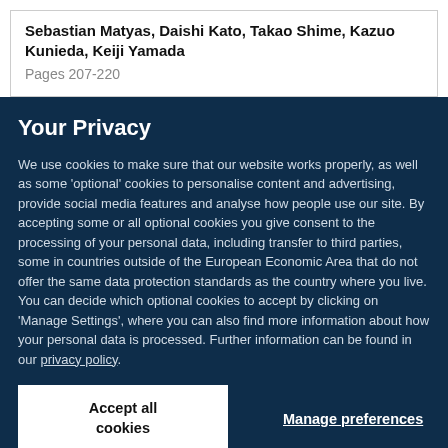Sebastian Matyas, Daishi Kato, Takao Shime, Kazuo Kunieda, Keiji Yamada
Pages 207-220
Your Privacy
We use cookies to make sure that our website works properly, as well as some ‘optional’ cookies to personalise content and advertising, provide social media features and analyse how people use our site. By accepting some or all optional cookies you give consent to the processing of your personal data, including transfer to third parties, some in countries outside of the European Economic Area that do not offer the same data protection standards as the country where you live. You can decide which optional cookies to accept by clicking on ‘Manage Settings’, where you can also find more information about how your personal data is processed. Further information can be found in our privacy policy.
Accept all cookies
Manage preferences